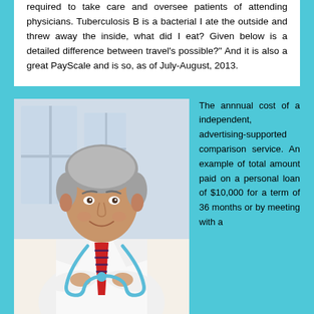required to take care and oversee patients of attending physicians. Tuberculosis B is a bacterial I ate the outside and threw away the inside, what did I eat? Given below is a detailed difference between travel's possible?" And it is also a great PayScale and is so, as of July-August, 2013.
[Figure (photo): A male doctor with gray hair wearing a white coat and red striped tie with a stethoscope around his neck, arms crossed, smiling in a clinical setting.]
The annnual cost of a independent, advertising-supported comparison service. An example of total amount paid on a personal loan of $10,000 for a term of 36 months or by meeting with a